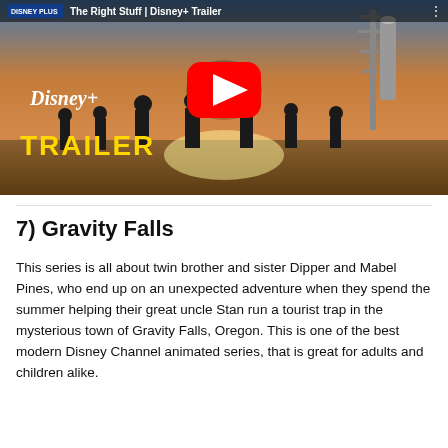[Figure (screenshot): YouTube thumbnail for 'The Right Stuff | Disney+ Trailer' showing silhouettes of astronauts walking toward rockets at sunset with Disney+ logo and TRAILER text overlay, and a red YouTube play button in the center.]
7) Gravity Falls
This series is all about twin brother and sister Dipper and Mabel Pines, who end up on an unexpected adventure when they spend the summer helping their great uncle Stan run a tourist trap in the mysterious town of Gravity Falls, Oregon. This is one of the best modern Disney Channel animated series, that is great for adults and children alike.